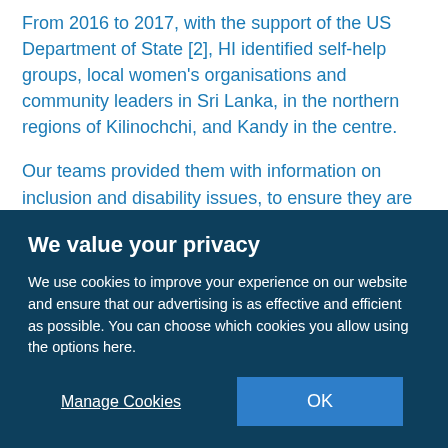From 2016 to 2017, with the support of the US Department of State [2], HI identified self-help groups, local women's organisations and community leaders in Sri Lanka, in the northern regions of Kilinochchi, and Kandy in the centre.
Our teams provided them with information on inclusion and disability issues, to ensure they are able to represent their members and influence decisions made as part of the reconciliation process, to make their daily activities (micro-credit and self-help groups) more inclusive of people with
We value your privacy
We use cookies to improve your experience on our website and ensure that our advertising is as effective and efficient as possible. You can choose which cookies you allow using the options here.